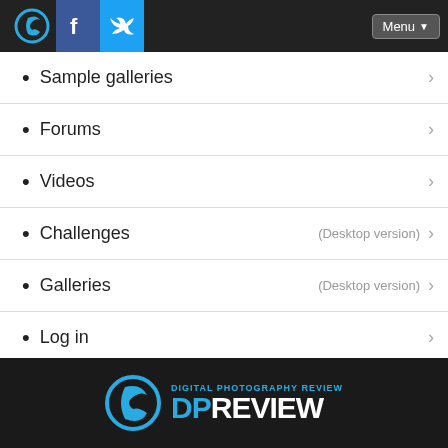[Figure (screenshot): Website header bar with DPReview logo, Facebook and Twitter icons, and Menu button]
Sample galleries
Forums
Videos
Challenges (Desktop version)
Galleries (Desktop version)
Log in
Reading mode
Light ☀
Dark ☾
Switch to Desktop mode
[Figure (logo): Digital Photography Review DPReview logo in white and blue on dark background]